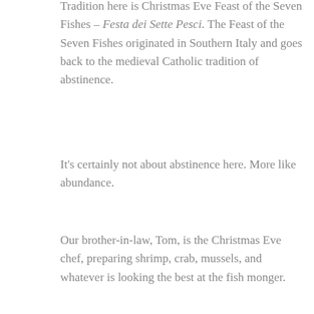Tradition here is Christmas Eve Feast of the Seven Fishes – Festa dei Sette Pesci.  The Feast of the Seven Fishes originated in Southern Italy and goes back to the medieval Catholic tradition of abstinence.
It's certainly not about abstinence here.  More like abundance.
Our brother-in-law, Tom, is the Christmas Eve chef, preparing shrimp, crab, mussels, and whatever is looking the best at the fish monger.
And then he creates his magic.
We started with a crab dip, and I made our friend Luigi's Christmas Eve Killer Shrimp.  Killer is an understatement.  It rocks!
::insert fuzzy picture here when I get home::